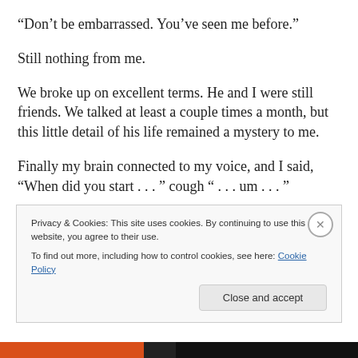“Don’t be embarrassed. You’ve seen me before.”
Still nothing from me.
We broke up on excellent terms. He and I were still friends. We talked at least a couple times a month, but this little detail of his life remained a mystery to me.
Finally my brain connected to my voice, and I said, “When did you start . . . ” cough “ . . . um . . . ”
“Stripping for bachelorette parties?”
Privacy & Cookies: This site uses cookies. By continuing to use this website, you agree to their use.
To find out more, including how to control cookies, see here: Cookie Policy